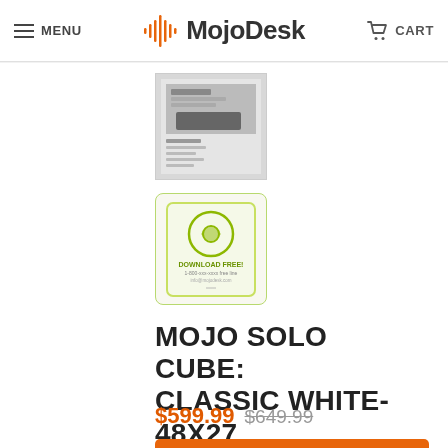MENU  MojoDesk  CART
[Figure (screenshot): Product thumbnail image 1 - document/spec sheet thumbnail]
[Figure (photo): Product thumbnail image 2 - green eco/recycling badge icon]
MOJO SOLO CUBE: CLASSIC WHITE-48X27
$599.99 $649.99
ADD TO CART
Size